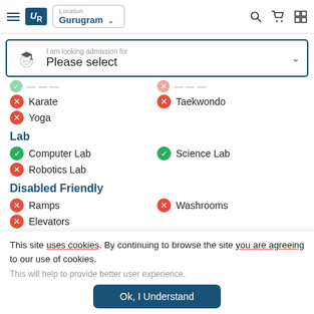Urban Risers - Location: Gurugram
I am looking admission for
Please select
Karate
Taekwondo
Yoga
Lab
Computer Lab (available)
Science Lab (available)
Robotics Lab (not available)
Disabled Friendly
Ramps (not available)
Washrooms (not available)
Elevators (not available)
This site uses cookies. By continuing to browse the site you are agreeing to our use of cookies.
This will help to provide better user experience.
Ok, I Understand